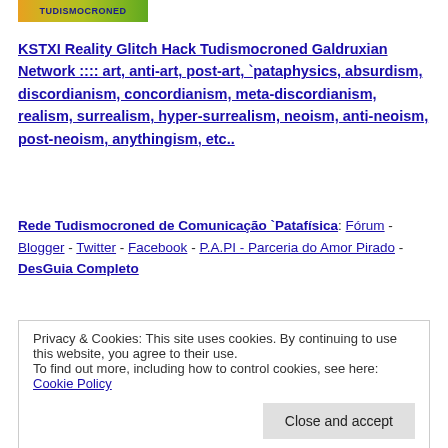[Figure (logo): TUDISMOCRONED logo banner with colorful gradient background]
KSTXI Reality Glitch Hack Tudismocroned Galdruxian Network :::: art, anti-art, post-art, `pataphysics, absurdism, discordianism, concordianism, meta-discordianism, realism, surrealism, hyper-surrealism, neoism, anti-neoism, post-neoism, anythingism, etc..
Rede Tudismocroned de Comunicação `Patafísica: Fórum - Blogger - Twitter - Facebook - P.A.PI - Parceria do Amor Pirado - DesGuia Completo
Privacy & Cookies: This site uses cookies. By continuing to use this website, you agree to their use.
To find out more, including how to control cookies, see here: Cookie Policy
Close and accept